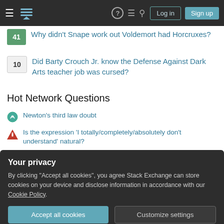Stack Exchange navigation bar with Log in and Sign up buttons
41 — Why didn't Snape work out Voldemort had Horcruxes?
10 — Did Barty Crouch Jr. know the Defense Against Dark Arts teacher job was cursed?
Hot Network Questions
Newton's third law doubt
Is the expression 'I totally/completely/absolutely don't understand' natural?
Dual US/UK citizen but UK passport expired - problem on return to UK?
Why are there five chromatic dragons and not four?
Your privacy
By clicking "Accept all cookies", you agree Stack Exchange can store cookies on your device and disclose information in accordance with our Cookie Policy.
What would be the range of a charged charge gun "projectile"?